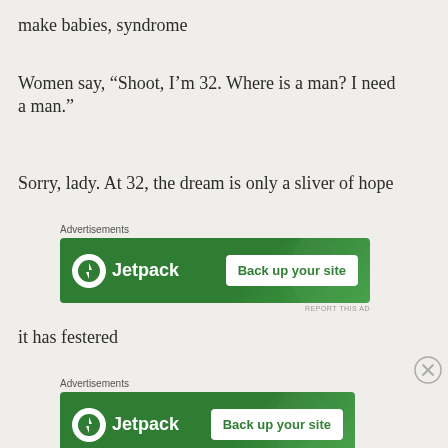make babies, syndrome
Women say, “Shoot, I’m 32. Where is a man? I need a man.”
Sorry, lady. At 32, the dream is only a sliver of hope
[Figure (other): Jetpack advertisement banner with green background, Jetpack logo on left, and 'Back up your site' button on right. Label above says 'Advertisements' and 'REPORT THIS AD' below.]
it has festered
[Figure (other): Second Jetpack advertisement banner with green background, Jetpack logo on left, and 'Back up your site' button on right. Label above says 'Advertisements' and 'REPORT THIS AD' below. Close button (X) visible to the right.]